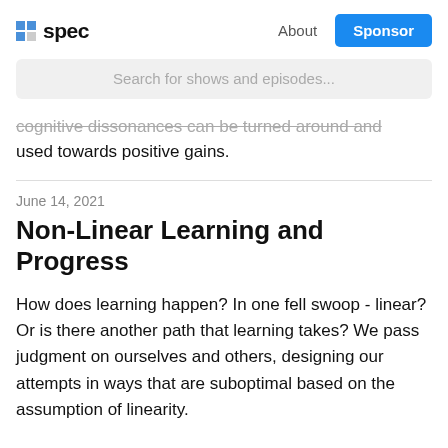spec | About | Sponsor
Search for shows and episodes...
cognitive dissonances can be turned around and used towards positive gains.
June 14, 2021
Non-Linear Learning and Progress
How does learning happen? In one fell swoop - linear? Or is there another path that learning takes? We pass judgment on ourselves and others, designing our attempts in ways that are suboptimal based on the assumption of linearity.